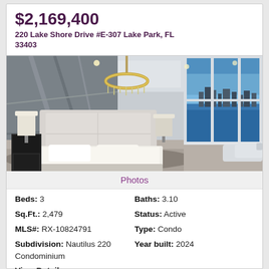$2,169,400
220 Lake Shore Drive #E-307 Lake Park, FL 33403
[Figure (photo): Luxury condo bedroom interior with modern decor, large bed, chandelier, floor-to-ceiling windows with waterfront city view at dusk]
Photos
Beds: 3   Baths: 3.10
Sq.Ft.: 2,479   Status: Active
MLS#: RX-10824791   Type: Condo
Subdivision: Nautilus 220 Condominium   Year built: 2024
View Details